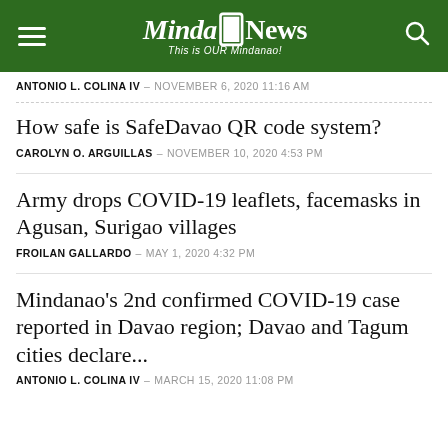MindaNews - This is OUR Mindanao!
ANTONIO L. COLINA IV – NOVEMBER 6, 2020 11:16 AM
How safe is SafeDavao QR code system?
CAROLYN O. ARGUILLAS – NOVEMBER 10, 2020 4:53 PM
Army drops COVID-19 leaflets, facemasks in Agusan, Surigao villages
FROILAN GALLARDO – MAY 1, 2020 4:32 PM
Mindanao's 2nd confirmed COVID-19 case reported in Davao region; Davao and Tagum cities declare...
ANTONIO L. COLINA IV – MARCH 15, 2020 11:08 PM